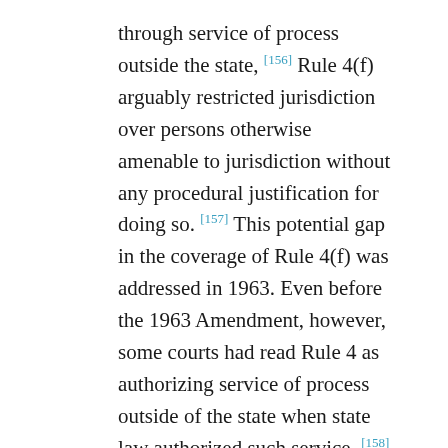through service of process outside the state, [156] Rule 4(f) arguably restricted jurisdiction over persons otherwise amenable to jurisdiction without any procedural justification for doing so. [157] This potential gap in the coverage of Rule 4(f) was addressed in 1963. Even before the 1963 Amendment, however, some courts had read Rule 4 as authorizing service of process outside of the state when state law authorized such service. [158] Putting aside the persuasiveness of this reading as a textual matter, those decisions are defensible on the ground that a contrary reading of Rule 4 would have rendered Rule